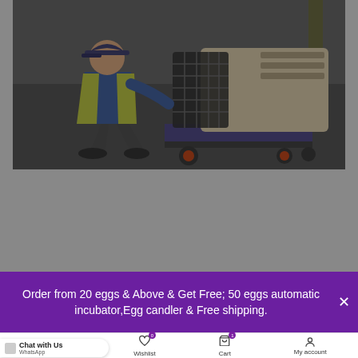[Figure (photo): A worker in a yellow hi-vis vest crouching next to a pet carrier crate on a wheeled trolley, appearing to interact with an animal inside the crate, in an industrial/warehouse setting.]
Order from 20 eggs & Above & Get Free; 50 eggs automatic incubator,Egg candler & Free shipping.
Chat with Us  WhatsApp  Wishlist 0  Cart 1  My account